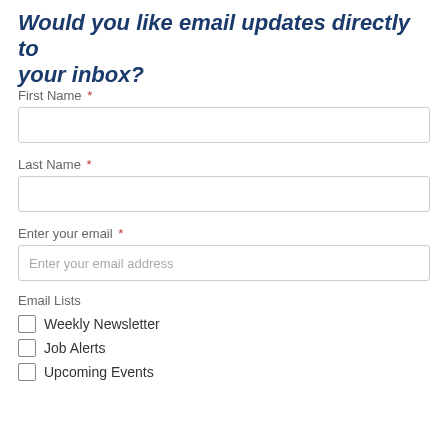Would you like email updates directly to your inbox?
First Name *
Last Name *
Enter your email *
Email Lists
Weekly Newsletter
Job Alerts
Upcoming Events